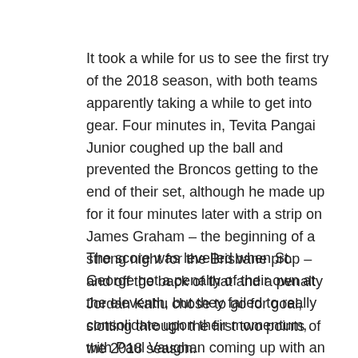It took a while for us to see the first try of the 2018 season, with both teams apparently taking a while to get into gear. Four minutes in, Tevita Pangai Junior coughed up the ball and prevented the Broncos getting to the end of their set, although he made up for it four minutes later with a strip on James Graham – the beginning of a strong night for the Brisbane prop – and off the back of that and a penalty Jordan Kahu chose to go for goal, slotting through the first two points of the 2018 season.
The score was levelled when St. George got a penalty of their own at the eleventh, but they failed to really consolidate upon their momentum, with Paul Vaughan coming up with an error in the play-the-ball with three tackles to go about three minutes later – a stuff-up